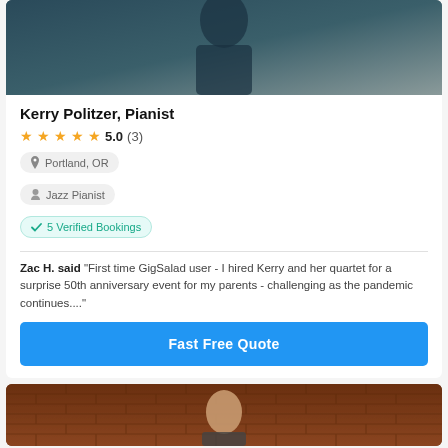[Figure (photo): Top portion of a performer card showing a dark-clothed person against a dark background with an 'Offers Virtual Services' badge overlay]
Kerry Politzer, Pianist
★★★★★ 5.0 (3)
Portland, OR
Jazz Pianist
✓ 5 Verified Bookings
Zac H. said "First time GigSalad user - I hired Kerry and her quartet for a surprise 50th anniversary event for my parents - challenging as the pandemic continues...."
Fast Free Quote
[Figure (photo): Bottom card showing a person standing in front of a brick wall background]